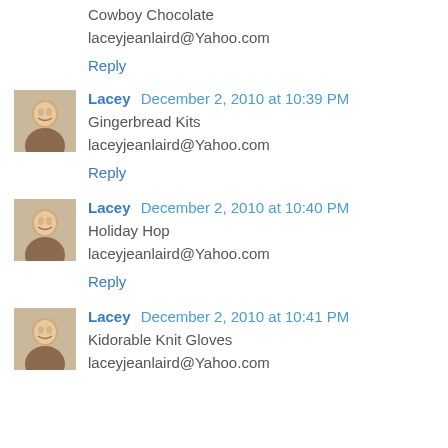Cowboy Chocolate
laceyjeanlaird@Yahoo.com
Reply
Lacey December 2, 2010 at 10:39 PM
Gingerbread Kits
laceyjeanlaird@Yahoo.com
Reply
Lacey December 2, 2010 at 10:40 PM
Holiday Hop
laceyjeanlaird@Yahoo.com
Reply
Lacey December 2, 2010 at 10:41 PM
Kidorable Knit Gloves
laceyjeanlaird@Yahoo.com